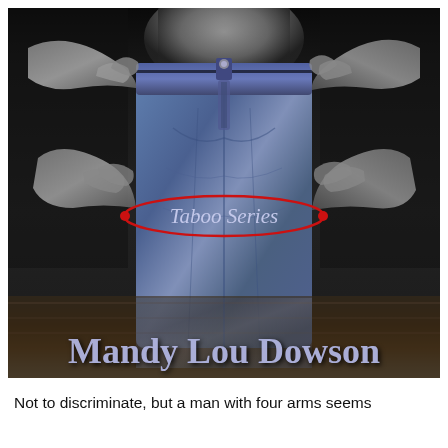[Figure (illustration): Book cover for a romance/erotica novel in the Taboo Series by Mandy Lou Dowson. The cover shows a close-up of a man's torso in jeans with multiple hands gripping the waistband, in dark grayscale tones. 'Taboo Series' text appears in italic script with a red oval badge. 'Mandy Lou Dowson' appears in large lavender/blue text at the bottom of the cover.]
Not to discriminate, but a man with four arms seems